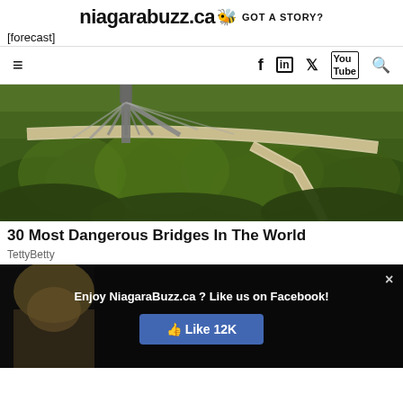niagarabuzz.ca GOT A STORY?
[forecast]
[Figure (screenshot): Navigation bar with hamburger menu icon on the left and social media icons (Facebook, LinkedIn, Twitter, YouTube, Search) on the right]
[Figure (photo): Aerial view of a modern pedestrian sky bridge over green forest canopy, with steel truss support structure]
30 Most Dangerous Bridges In The World
TettyBetty
[Figure (screenshot): Facebook like overlay popup with text 'Enjoy NiagaraBuzz.ca ? Like us on Facebook!' and a blue Like button showing 12K likes, with an X close button]